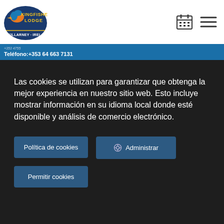[Figure (logo): Kingfisher Lodge logo with kingfisher bird illustration and stylized text]
+353 64 663 7131
Teléfono:+353 64 663 7131
Las cookies se utilizan para garantizar que obtenga la mejor experiencia en nuestro sitio web. Esto incluye mostrar información en su idioma local donde esté disponible y análisis de comercio electrónico.
Política de cookies
Administrar
Permitir cookies